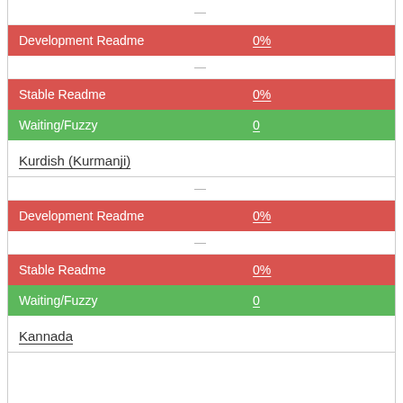| Category | Value |
| --- | --- |
| Development Readme | 0% |
| Stable Readme | 0% |
| Waiting/Fuzzy | 0 |
| Kurdish (Kurmanji) |  |
| Development Readme | 0% |
| Stable Readme | 0% |
| Waiting/Fuzzy | 0 |
| Kannada |  |